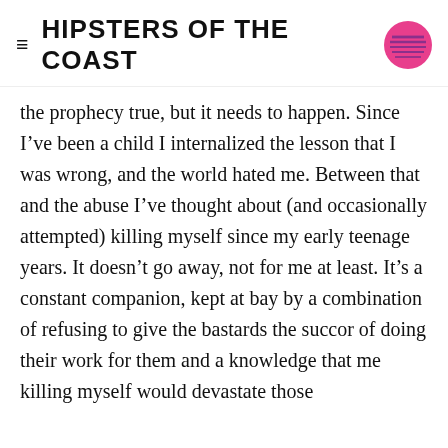≡ HIPSTERS OF THE COAST
the prophecy true, but it needs to happen. Since I've been a child I internalized the lesson that I was wrong, and the world hated me. Between that and the abuse I've thought about (and occasionally attempted) killing myself since my early teenage years. It doesn't go away, not for me at least. It's a constant companion, kept at bay by a combination of refusing to give the bastards the succor of doing their work for them and a knowledge that me killing myself would devastate those